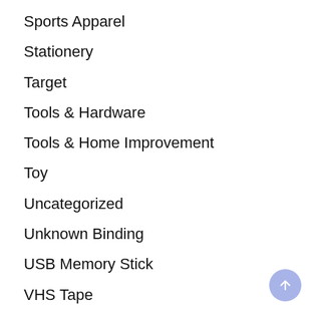Sports Apparel
Stationery
Target
Tools & Hardware
Tools & Home Improvement
Toy
Uncategorized
Unknown Binding
USB Memory Stick
VHS Tape
Video Game
Vinyl